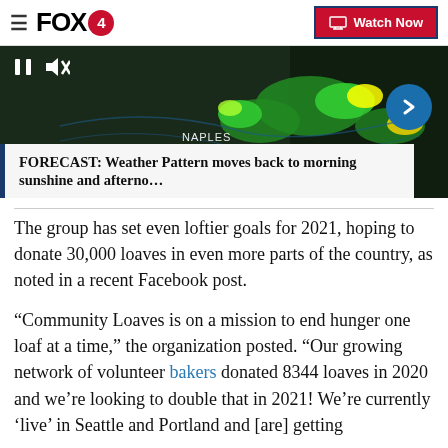FOX 4 | Watch Now
[Figure (screenshot): FOX 4 weather forecast video thumbnail showing radar with green/yellow storm cells over Naples area, with video controls (pause, mute) and a blue arrow circle on the right]
FORECAST: Weather Pattern moves back to morning sunshine and afterno…
The group has set even loftier goals for 2021, hoping to donate 30,000 loaves in even more parts of the country, as noted in a recent Facebook post.
“Community Loaves is on a mission to end hunger one loaf at a time,” the organization posted. “Our growing network of volunteer bakers donated 8344 loaves in 2020 and we’re looking to double that in 2021! We’re currently ‘live’ in Seattle and Portland and [are] getting